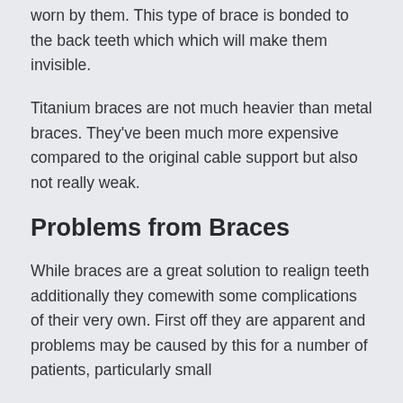worn by them. This type of brace is bonded to the back teeth which which will make them invisible.
Titanium braces are not much heavier than metal braces. They've been much more expensive compared to the original cable support but also not really weak.
Problems from Braces
While braces are a great solution to realign teeth additionally they comewith some complications of their very own. First off they are apparent and problems may be caused by this for a number of patients, particularly small